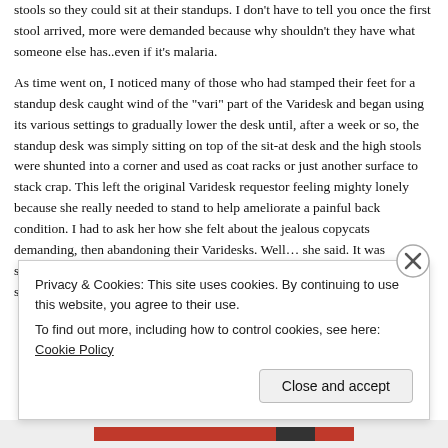stools so they could sit at their standups. I don't have to tell you once the first stool arrived, more were demanded because why shouldn't they have what someone else has..even if it's malaria.
As time went on, I noticed many of those who had stamped their feet for a standup desk caught wind of the "vari" part of the Varidesk and began using its various settings to gradually lower the desk until, after a week or so, the standup desk was simply sitting on top of the sit-at desk and the high stools were shunted into a corner and used as coat racks or just another surface to stack crap. This left the original Varidesk requestor feeling mighty lonely because she really needed to stand to help ameliorate a painful back condition. I had to ask her how she felt about the jealous copycats demanding, then abandoning their Varidesks. Well… she said. It was satisfying that as the one person who actually needed it.. she was the last one standing.
Privacy & Cookies: This site uses cookies. By continuing to use this website, you agree to their use. To find out more, including how to control cookies, see here: Cookie Policy